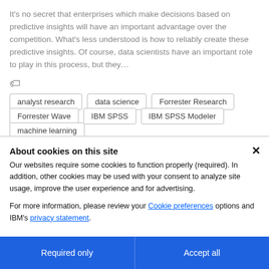It’s no secret that enterprises which make decisions based on predictive insights will have an important advantage over the competition. What’s less understood is how to reliably create these predictive insights. Of course, data scientists have an important role to play in this process, but they…
analyst research
data science
Forrester Research
Forrester Wave
IBM SPSS
IBM SPSS Modeler
machine learning
About cookies on this site
Our websites require some cookies to function properly (required). In addition, other cookies may be used with your consent to analyze site usage, improve the user experience and for advertising.
For more information, please review your Cookie preferences options and IBM’s privacy statement.